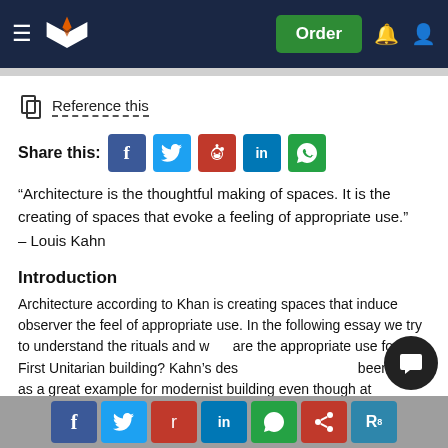StudyMoose navigation header with Order button
Reference this
Share this: [Facebook] [Twitter] [Reddit] [LinkedIn] [WhatsApp]
“Architecture is the thoughtful making of spaces. It is the creating of spaces that evoke a feeling of appropriate use.” – Louis Kahn
Introduction
Architecture according to Khan is creating spaces that induce observer the feel of appropriate use. In the following essay we try to understand the rituals and what are the appropriate use for the First Unitarian building? Kahn’s design philosophy has been set as a great example for modernist building even though at